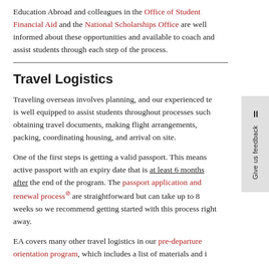Education Abroad and colleagues in the Office of Student Financial Aid and the National Scholarships Office are well informed about these opportunities and available to coach and assist students through each step of the process.
Travel Logistics
Traveling overseas involves planning, and our experienced team is well equipped to assist students throughout processes such as obtaining travel documents, making flight arrangements, packing, coordinating housing, and arrival on site.
One of the first steps is getting a valid passport. This means an active passport with an expiry date that is at least 6 months after the end of the program. The passport application and renewal process are straightforward but can take up to 8 weeks so we recommend getting started with this process right away.
EA covers many other travel logistics in our pre-departure orientation program, which includes a list of materials and items...